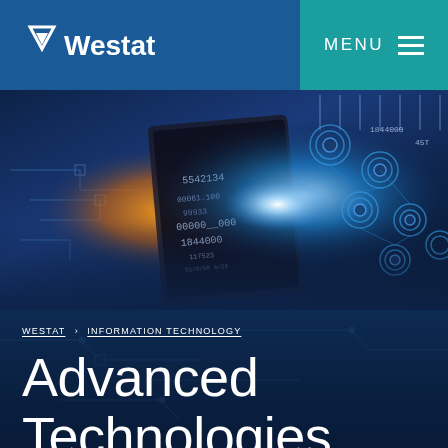Westat | MENU
[Figure (photo): Hero banner showing a glowing digital/technology background with circuit board elements, data numbers floating in the air, and a robotic mechanical arm — orange and blue glowing light effects on a dark blue background.]
WESTAT > INFORMATION TECHNOLOGY
Advanced Technologies